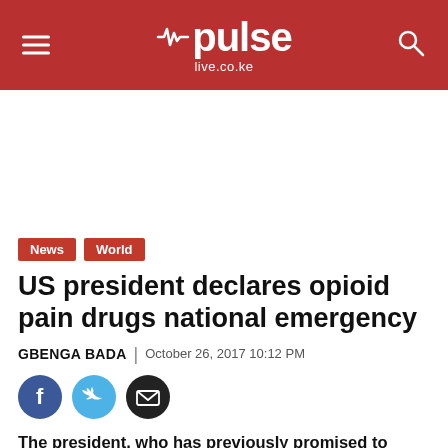pulse live.co.ke
[Figure (other): Advertisement placeholder area (white space)]
News
World
US president declares opioid pain drugs national emergency
GBENGA BADA | October 26, 2017 10:12 PM
[Figure (other): Social share icons: Facebook, Twitter, Email]
The president, who has previously promised to